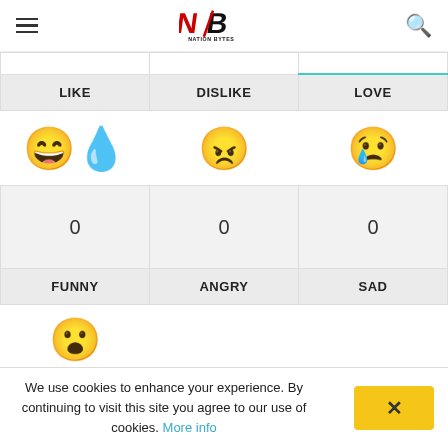Nation Bytes
| LIKE | DISLIKE | LOVE |
| --- | --- | --- |
| 😄💧 | 😠 | 😢 |
| 0 | 0 | 0 |
| FUNNY | ANGRY | SAD |
| 😮 |  |  |
We use cookies to enhance your experience. By continuing to visit this site you agree to our use of cookies. More info